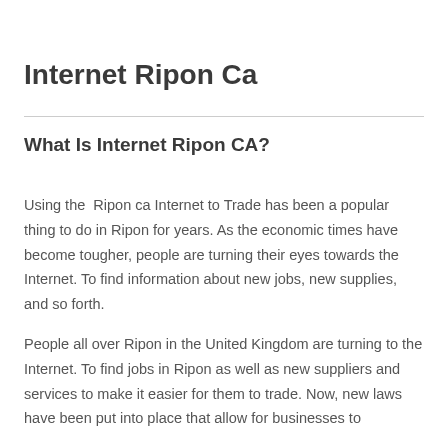Internet Ripon Ca
What Is Internet Ripon CA?
Using the  Ripon ca Internet to Trade has been a popular thing to do in Ripon for years. As the economic times have become tougher, people are turning their eyes towards the Internet. To find information about new jobs, new supplies, and so forth.
People all over Ripon in the United Kingdom are turning to the Internet. To find jobs in Ripon as well as new suppliers and services to make it easier for them to trade. Now, new laws have been put into place that allow for businesses to